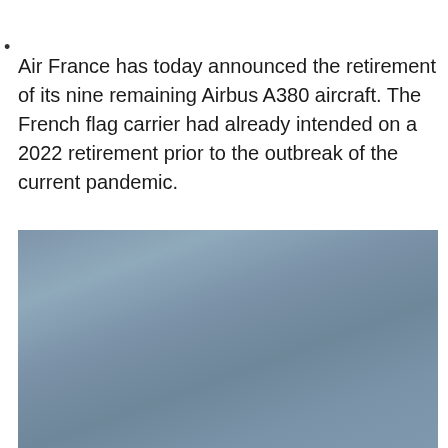Air France has today announced the retirement of its nine remaining Airbus A380 aircraft. The French flag carrier had already intended on a 2022 retirement prior to the outbreak of the current pandemic.
[Figure (photo): A large area showing a muted blue-grey sky, likely a photograph of an aircraft in flight against an overcast sky. The image is mostly a flat, desaturated blue-grey gradient.]